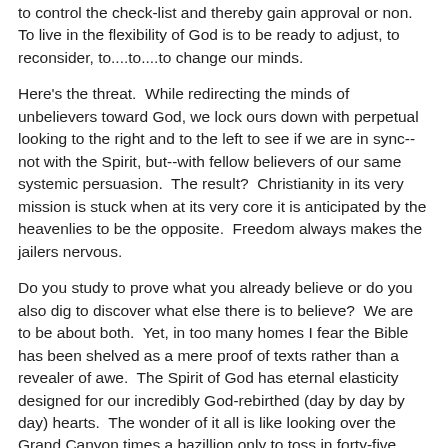to control the check-list and thereby gain approval or non. To live in the flexibility of God is to be ready to adjust, to reconsider, to....to....to change our minds.
Here's the threat. While redirecting the minds of unbelievers toward God, we lock ours down with perpetual looking to the right and to the left to see if we are in sync--not with the Spirit, but--with fellow believers of our same systemic persuasion. The result? Christianity in its very mission is stuck when at its very core it is anticipated by the heavenlies to be the opposite. Freedom always makes the jailers nervous.
Do you study to prove what you already believe or do you also dig to discover what else there is to believe? We are to be about both. Yet, in too many homes I fear the Bible has been shelved as a mere proof of texts rather than a revealer of awe. The Spirit of God has eternal elasticity designed for our incredibly God-rebirthed (day by day by day) hearts. The wonder of it all is like looking over the Grand Canyon times a bazillion only to toss in forty-five oceans. This is what we are to experience...experience beyond knowing. Ephesians